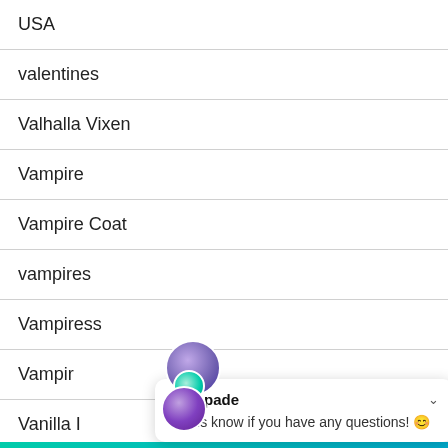USA
valentines
Valhalla Vixen
Vampire
Vampire Coat
vampires
Vampiress
Vampir…
Vanilla I…
Escapade — Let us know if you have any questions! 😊